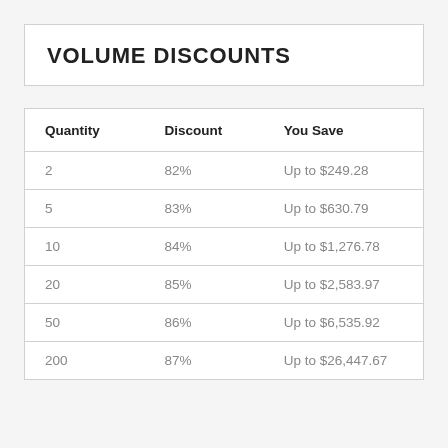VOLUME DISCOUNTS
| Quantity | Discount | You Save |
| --- | --- | --- |
| 2 | 82% | Up to $249.28 |
| 5 | 83% | Up to $630.79 |
| 10 | 84% | Up to $1,276.78 |
| 20 | 85% | Up to $2,583.97 |
| 50 | 86% | Up to $6,535.92 |
| 200 | 87% | Up to $26,447.67 |